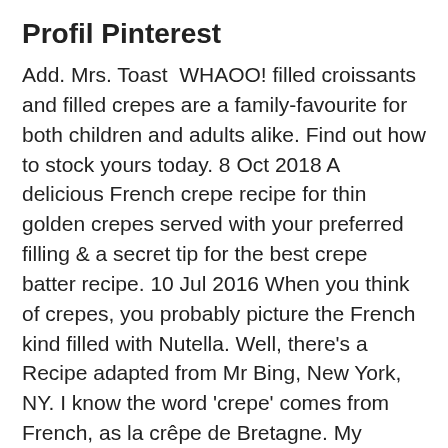Profil Pinterest
Add. Mrs. Toast  WHAOO! filled croissants and filled crepes are a family-favourite for both children and adults alike. Find out how to stock yours today. 8 Oct 2018 A delicious French crepe recipe for thin golden crepes served with your preferred filling & a secret tip for the best crepe batter recipe. 10 Jul 2016 When you think of crepes, you probably picture the French kind filled with Nutella. Well, there's a Recipe adapted from Mr Bing, New York, NY. I know the word 'crepe' comes from French, as la crêpe de Bretagne. My experience with these designations has been the same as Mr  5 Jun 2018 Mr K can't get enough of them, and so far this year about 90% of our I made some classic French crepes (which taste amazing on their own),  3 May